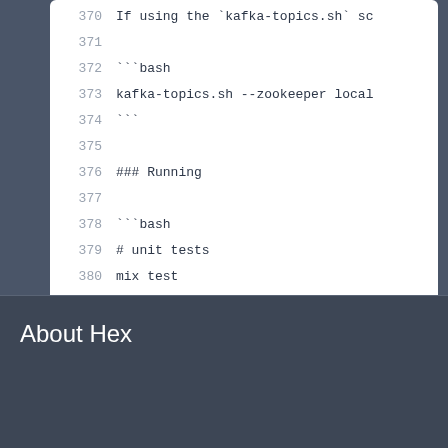Code block showing lines 370-384 with kafka topics and running bash commands
About Hex